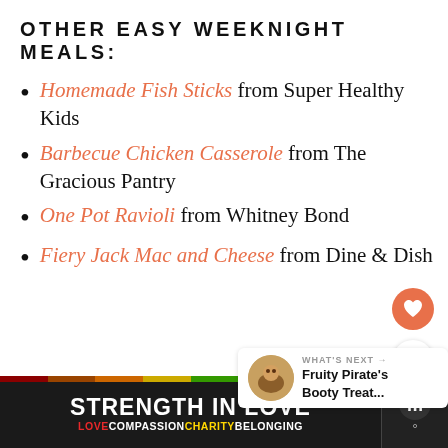OTHER EASY WEEKNIGHT MEALS:
Homemade Fish Sticks from Super Healthy Kids
Barbecue Chicken Casserole from The Gracious Pantry
One Pot Ravioli from Whitney Bond
Fiery Jack Mac and Cheese from Dine & Dish
[Figure (infographic): What's Next card showing Fruity Pirate's Booty Treat...]
[Figure (infographic): Advertisement banner: STRENGTH IN LOVE, LOVE COMPASSION CHARITY BELONGING with rainbow colors]